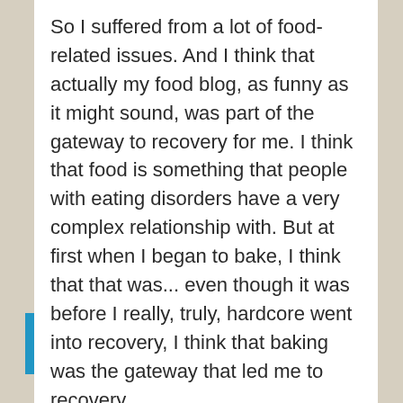So I suffered from a lot of food-related issues. And I think that actually my food blog, as funny as it might sound, was part of the gateway to recovery for me. I think that food is something that people with eating disorders have a very complex relationship with. But at first when I began to bake, I think that that was... even though it was before I really, truly, hardcore went into recovery, I think that baking was the gateway that led me to recovery.
Because at first, I think that I would only take the teeny, tiniest taste of anything that I baked, but it's like I started to get to know my enemy. And all of a sudden, when you